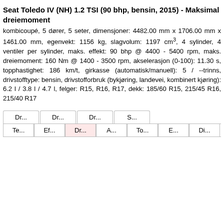Seat Toledo IV (NH) 1.2 TSI (90 bhp, bensin, 2015) - Maksimal dreiemoment
kombicoupé, 5 dører, 5 seter, dimensjoner: 4482.00 mm x 1706.00 mm x 1461.00 mm, egenvekt: 1156 kg, slagvolum: 1197 cm³, 4 sylinder, 4 ventiler per sylinder, maks. effekt: 90 bhp @ 4400 - 5400 rpm, maks. dreiemoment: 160 Nm @ 1400 - 3500 rpm, akselerasjon (0-100): 11.30 s, topphastighet: 186 km/t, girkasse (automatisk/manuell): 5 / --trinns, drivstofftype: bensin, drivstofforbruk (bykjøring, landevei, kombinert kjøring): 6.2 l / 3.8 l / 4.7 l, felger: R15, R16, R17, dekk: 185/60 R15, 215/45 R16, 215/40 R17
| Dr... | Dr... | Dr... | S... | Te... | Ef... | Dr... | A... | To... | E... | Di... |
| --- | --- | --- | --- | --- | --- | --- | --- | --- | --- | --- |